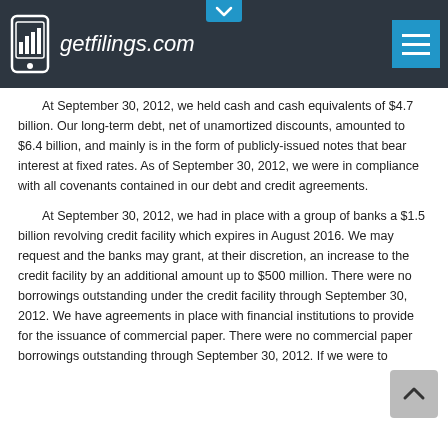getfilings.com
At September 30, 2012, we held cash and cash equivalents of $4.7 billion. Our long-term debt, net of unamortized discounts, amounted to $6.4 billion, and mainly is in the form of publicly-issued notes that bear interest at fixed rates. As of September 30, 2012, we were in compliance with all covenants contained in our debt and credit agreements.
At September 30, 2012, we had in place with a group of banks a $1.5 billion revolving credit facility which expires in August 2016. We may request and the banks may grant, at their discretion, an increase to the credit facility by an additional amount up to $500 million. There were no borrowings outstanding under the credit facility through September 30, 2012. We have agreements in place with financial institutions to provide for the issuance of commercial paper. There were no commercial paper borrowings outstanding through September 30, 2012. If we were to